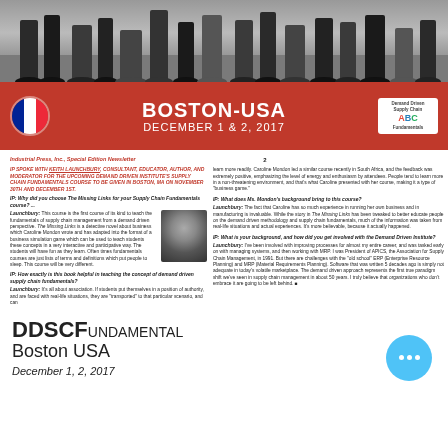[Figure (photo): Photo of people standing, showing their legs and feet from approximately knee-height down, on a stage or floor setting.]
BOSTON-USA
DECEMBER 1 & 2, 2017
Industrial Press, Inc., Special Edition Newsletter   2
IP SPOKE WITH KEITH LAUNCHBURY, CONSULTANT, EDUCATOR, AUTHOR, AND MODERATOR FOR THE UPCOMING DEMAND DRIVEN INSTITUTE'S SUPPLY CHAIN FUNDAMENTALS COURSE TO BE GIVEN IN BOSTON, MA ON NOVEMBER 30TH AND DECEMBER 1ST.
IP: Why did you choose The Missing Links for your Supply Chain Fundamentals course? ...reliability within organizations?
Launchbury: This course is the first course of its kind to teach the fundamentals of supply chain management from a demand driven perspective. The Missing Links is a detective novel about business which Caroline Mondon wrote and has adapted into the format of a business simulation game which can be used to teach students these concepts in a very interactive and participative way...
IP: How exactly is this book helpful in teaching the concept of demand driven supply chain fundamentals?
Launchbury: It's all about association. If students put themselves in a position of authority, and are faced with real-life situations, they are "transported" to that particular scenario, and can learn more readily...
IP: What does Ms. Mondon's background bring to this course? Launchbury: The fact that Caroline has so much experience in running her own business and in manufacturing is invaluable...
IP: What is your background, and how did you get involved with the Demand Driven Institute? Launchbury: I've been involved with improving processes for almost my entire career...
DDSCFundamental
Boston USA
December 1, 2, 2017